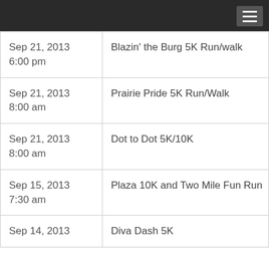| Date/Time | Event |
| --- | --- |
| Sep 21, 2013
6:00 pm | Blazin' the Burg 5K Run/walk |
| Sep 21, 2013
8:00 am | Prairie Pride 5K Run/Walk |
| Sep 21, 2013
8:00 am | Dot to Dot 5K/10K |
| Sep 15, 2013
7:30 am | Plaza 10K and Two Mile Fun Run |
| Sep 14, 2013 | Diva Dash 5K |